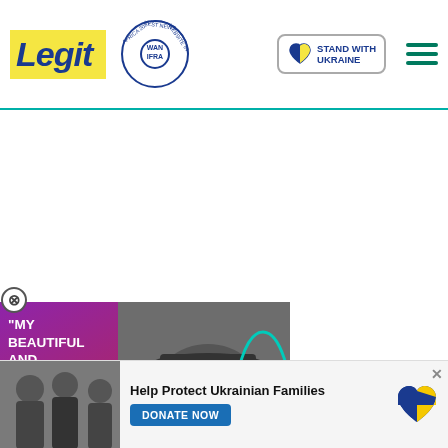[Figure (logo): Legit.ng logo with yellow background and blue italic text]
[Figure (logo): WAN-IFRA 2021 Best News Website in Africa circular badge]
[Figure (logo): Stand with Ukraine button with blue/yellow heart icon]
[Figure (other): Hamburger menu icon with three green horizontal lines]
[Figure (photo): Video overlay with quote MY BEAUTIFUL AND BRILLIANT LOVE and photo of a man with a play button]
s below:
[Figure (photo): Help Protect Ukrainian Families banner with photo and DONATE NOW button]